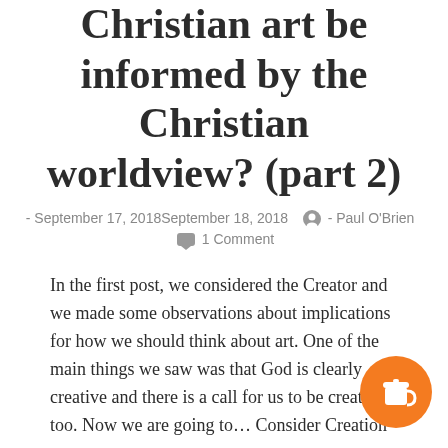Christian art be informed by the Christian worldview? (part 2)
- September 17, 2018September 18, 2018  - Paul O'Brien  1 Comment
In the first post, we considered the Creator and we made some observations about implications for how we should think about art. One of the main things we saw was that God is clearly creative and there is a call for us to be creative too. Now we are going to... Consider Creation